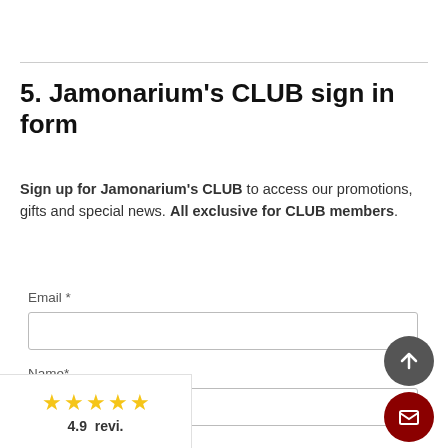5. Jamonarium's CLUB sign in form
Sign up for Jamonarium's CLUB to access our promotions, gifts and special news. All exclusive for CLUB members.
Email *
Name*
[Figure (infographic): Rating bar showing 5 gold stars and text '4.9 revi.']
[Figure (illustration): Dark grey circular scroll-to-top button with upward arrow icon]
[Figure (illustration): Dark red circular chat/email button with envelope icon]